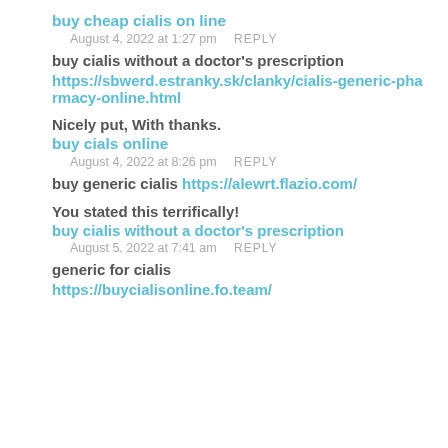buy cheap cialis on line
August 4, 2022 at 1:27 pm   REPLY
buy cialis without a doctor’s prescription https://sbwerd.estranky.sk/clanky/cialis-generic-pharmacy-online.html
Nicely put, With thanks.
buy cials online
August 4, 2022 at 8:26 pm   REPLY
buy generic cialis https://alewrt.flazio.com/
You stated this terrifically!
buy cialis without a doctor's prescription
August 5, 2022 at 7:41 am   REPLY
generic for cialis https://buycialisonline.fo.team/